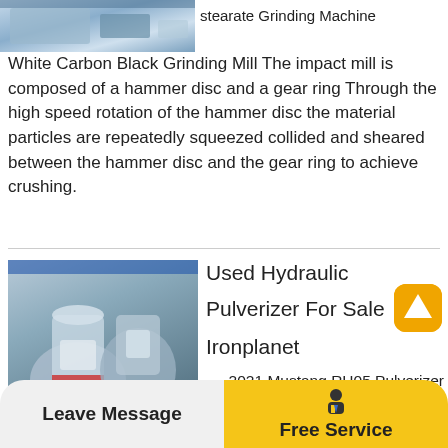[Figure (photo): Industrial grinding machine photo, partial view at top left]
stearate Grinding Machine White Carbon Black Grinding Mill The impact mill is composed of a hammer disc and a gear ring Through the high speed rotation of the hammer disc the material particles are repeatedly squeezed collided and sheared between the hammer disc and the gear ring to achieve crushing.
[Figure (photo): Used hydraulic pulverizer machine in industrial setting]
Used Hydraulic Pulverizer For Sale Ironplanet
2021 Mustang RH05 Pulverizer (Unused) Italy (5 401 mi away) Buy Now €3 900 (US $4 520) Watching Add to Watch List Compare With IronClad Assurance.
Leave Message   Free Service